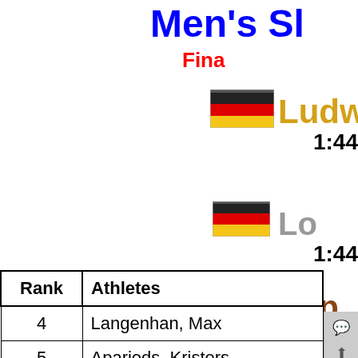Men's Sl
Final
[Figure (illustration): German flag icon (gold medal winner)]
Ludw
1:44
[Figure (illustration): German flag icon (silver medal winner)]
Lo
1:44
[Figure (illustration): Russian flag icon (bronze medal winner)]
Rep
| Rank | Athletes |
| --- | --- |
| 4 | Langenhan, Max |
| 5 | Aparjods, Kristers |
| 6 | Gleirscher, David |
| 7 | Fischnaller, Kevin |